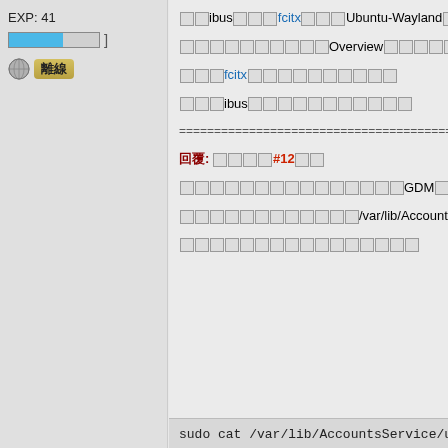EXP: 41
[Figure (other): Progress bar partially filled with blue, followed by bracket symbol]
[Figure (other): Offline status icon (grey globe) with golden label '離線']
□□ibus□□□fcitx□□□Ubuntu-Wayland□□□U
□□□□□□□□□□Overview□□□□□□□□□□□□□U
□□□fcitx□□□□□□□□□□□□
□□□ibus□□□□□□□□□□□□□
====================================
回覆: □□□□#12□□
□□□□□□□□□□□□□□□GDM□□□□□□□□□□□
□□□□□□□□□□□□/var/lib/AccountsService/use
□□□□□□□□□□□□□□□□
sudo cat /var/lib/AccountsService/us